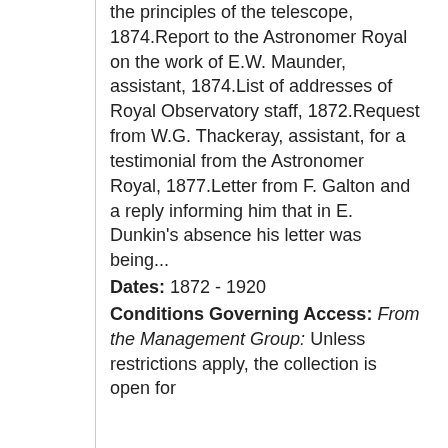the principles of the telescope, 1874.Report to the Astronomer Royal on the work of E.W. Maunder, assistant, 1874.List of addresses of Royal Observatory staff, 1872.Request from W.G. Thackeray, assistant, for a testimonial from the Astronomer Royal, 1877.Letter from F. Galton and a reply informing him that in E. Dunkin's absence his letter was being...
Dates: 1872 - 1920
Conditions Governing Access: From the Management Group: Unless restrictions apply, the collection is open for